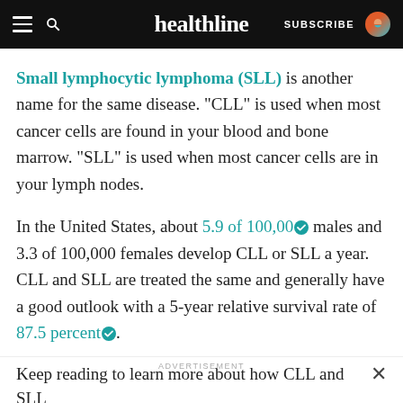healthline — SUBSCRIBE
Small lymphocytic lymphoma (SLL) is another name for the same disease. “CLL” is used when most cancer cells are found in your blood and bone marrow. “SLL” is used when most cancer cells are in your lymph nodes.
In the United States, about 5.9 of 100,00[verified] males and 3.3 of 100,000 females develop CLL or SLL a year. CLL and SLL are treated the same and generally have a good outlook with a 5-year relative survival rate of 87.5 percent[verified].
Keep reading to learn more about how CLL and SLL
ADVERTISEMENT